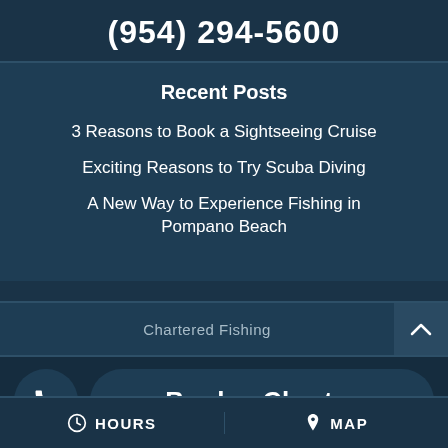(954) 294-5600
Recent Posts
3 Reasons to Book a Sightseeing Cruise
Exciting Reasons to Try Scuba Diving
A New Way to Experience Fishing in Pompano Beach
Chartered Fishing
Book a Charter
HOURS  MAP